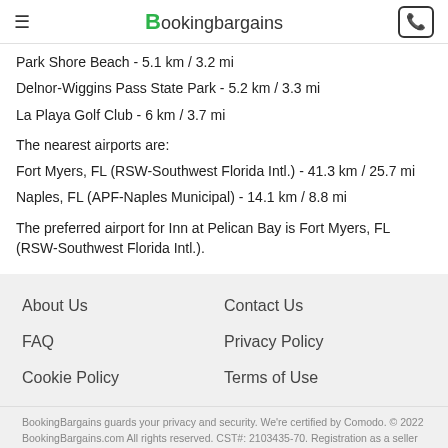BookingBargains
Park Shore Beach - 5.1 km / 3.2 mi
Delnor-Wiggins Pass State Park - 5.2 km / 3.3 mi
La Playa Golf Club - 6 km / 3.7 mi
The nearest airports are:
Fort Myers, FL (RSW-Southwest Florida Intl.) - 41.3 km / 25.7 mi
Naples, FL (APF-Naples Municipal) - 14.1 km / 8.8 mi
The preferred airport for Inn at Pelican Bay is Fort Myers, FL (RSW-Southwest Florida Intl.).
About Us
Contact Us
FAQ
Privacy Policy
Cookie Policy
Terms of Use
BookingBargains guards your privacy and security. We're certified by Comodo. © 2022 BookingBargains.com All rights reserved. CST#: 2103435-70. Registration as a seller of travel in California does not constitute the